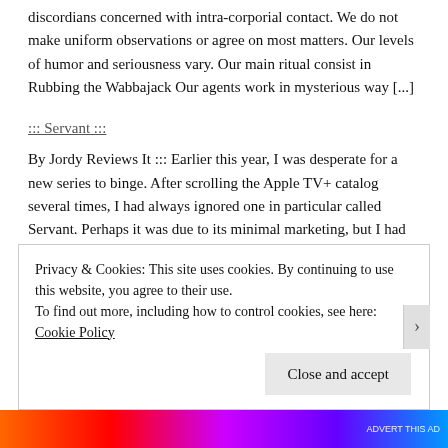discordians concerned with intra-corporial contact. We do not make uniform observations or agree on most matters. Our levels of humor and seriousness vary. Our main ritual consist in Rubbing the Wabbajack Our agents work in mysterious way [...]
::: Servant :::
By Jordy Reviews It ::: Earlier this year, I was desperate for a new series to binge. After scrolling the Apple TV+ catalog several times, I had always ignored one in particular called Servant. Perhaps it was due to its minimal marketing, but I had no idea what the show entailed. I'm somewhat glad I went in knowing so little because it immediately became a s [...]
Sri Svadasti Discordian Cabal
Privacy & Cookies: This site uses cookies. By continuing to use this website, you agree to their use.
To find out more, including how to control cookies, see here: Cookie Policy
Close and accept